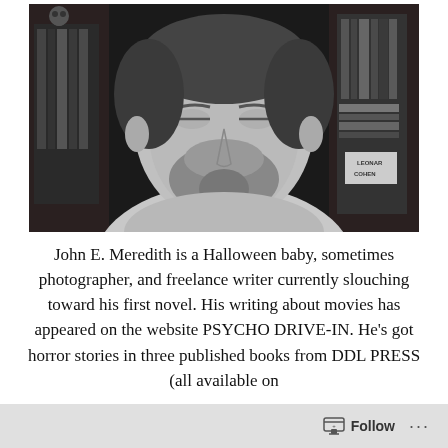[Figure (photo): Black and white photo of a man with a beard, eyes closed, shirtless, with bookshelves visible in the background including a Leonard Cohen book]
John E. Meredith is a Halloween baby, sometimes photographer, and freelance writer currently slouching toward his first novel. His writing about movies has appeared on the website PSYCHO DRIVE-IN. He's got horror stories in three published books from DDL PRESS (all available on
Follow ...